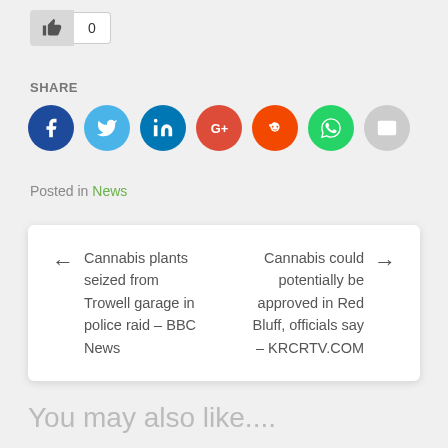[Figure (other): Like button with count of 0 and social share icons: Facebook, Twitter, LinkedIn, Google+, Reddit, WhatsApp, Email]
SHARE
Posted in News
← Cannabis plants seized from Trowell garage in police raid – BBC News    Cannabis could potentially be approved in Red Bluff, officials say – KRCRTV.COM →
You may also like....